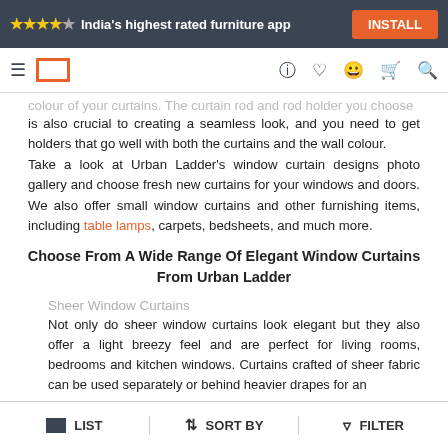★★★★☆ India's highest rated furniture app | INSTALL
Navigation bar with menu, logo, help, wishlist, account, cart, search icons
is also crucial to creating a seamless look, and you need to get holders that go well with both the curtains and the wall colour. Take a look at Urban Ladder's window curtain designs photo gallery and choose fresh new curtains for your windows and doors. We also offer small window curtains and other furnishing items, including table lamps, carpets, bedsheets, and much more.
Choose From A Wide Range Of Elegant Window Curtains From Urban Ladder
Sheer Window Curtains
Not only do sheer window curtains look elegant but they also offer a light breezy feel and are perfect for living rooms, bedrooms and kitchen windows. Curtains crafted of sheer fabric can be used separately or behind heavier drapes for an
LIST   SORT BY   FILTER